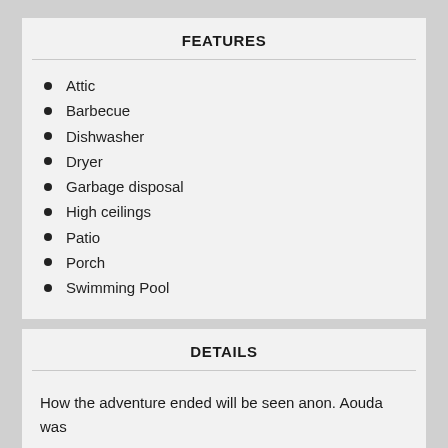FEATURES
Attic
Barbecue
Dishwasher
Dryer
Garbage disposal
High ceilings
Patio
Porch
Swimming Pool
DETAILS
How the adventure ended will be seen anon. Aouda was